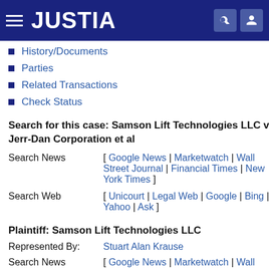JUSTIA
History/Documents
Parties
Related Transactions
Check Status
Search for this case: Samson Lift Technologies LLC v. Jerr-Dan Corporation et al
|  |  |
| --- | --- |
| Search News | [ Google News | Marketwatch | Wall Street Journal | Financial Times | New York Times ] |
| Search Web | [ Unicourt | Legal Web | Google | Bing | Yahoo | Ask ] |
Plaintiff: Samson Lift Technologies LLC
|  |  |
| --- | --- |
| Represented By: | Stuart Alan Krause |
| Search News | [ Google News | Marketwatch | Wall |